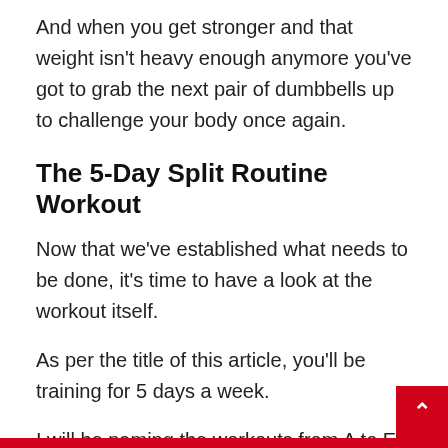And when you get stronger and that weight isn't heavy enough anymore you've got to grab the next pair of dumbbells up to challenge your body once again.
The 5-Day Split Routine Workout
Now that we've established what needs to be done, it's time to have a look at the workout itself.
As per the title of this article, you'll be training for 5 days a week.
I will be naming the workouts from A to E. The order in which you follow or perform the workouts are